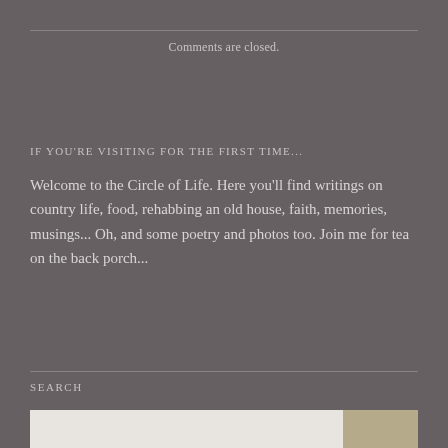Comments are closed.
IF YOU'RE VISITING FOR THE FIRST TIME...
Welcome to the Circle of Life. Here you'll find writings on country life, food, rehabbing an old house, faith, memories, musings... Oh, and some poetry and photos too. Join me for tea on the back porch...
SEARCH